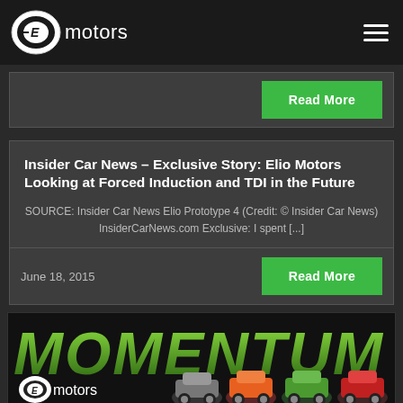Elio motors
Read More
Insider Car News – Exclusive Story: Elio Motors Looking at Forced Induction and TDI in the Future
SOURCE: Insider Car News Elio Prototype 4 (Credit: © Insider Car News) InsiderCarNews.com Exclusive: I spent [...]
June 18, 2015
Read More
[Figure (logo): Elio Motors MOMENTUM advertisement banner with colorful Elio prototype cars]